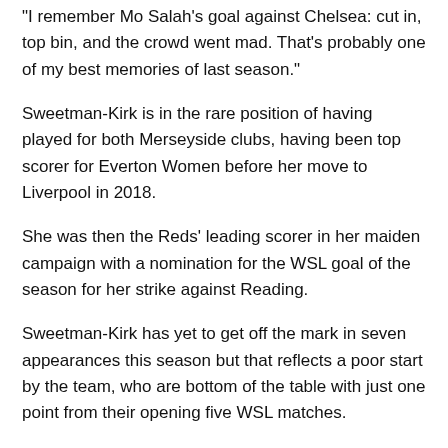“I remember Mo Salah’s goal against Chelsea: cut in, top bin, and the crowd went mad. That’s probably one of my best memories of last season.”
Sweetman-Kirk is in the rare position of having played for both Merseyside clubs, having been top scorer for Everton Women before her move to Liverpool in 2018.
She was then the Reds’ leading scorer in her maiden campaign with a nomination for the WSL goal of the season for her strike against Reading.
Sweetman-Kirk has yet to get off the mark in seven appearances this season but that reflects a poor start by the team, who are bottom of the table with just one point from their opening five WSL matches.
“We’ve been on the rough end of some results to be fair. It’s